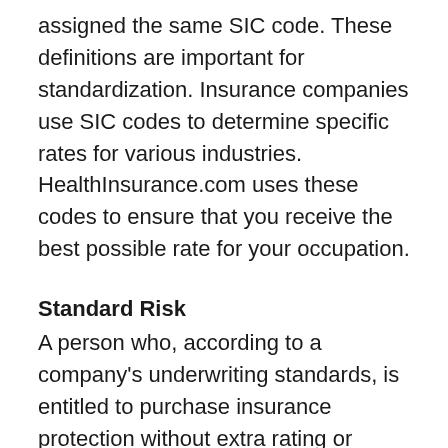assigned the same SIC code. These definitions are important for standardization. Insurance companies use SIC codes to determine specific rates for various industries. HealthInsurance.com uses these codes to ensure that you receive the best possible rate for your occupation.
Standard Risk
A person who, according to a company's underwriting standards, is entitled to purchase insurance protection without extra rating or special restrictions.
Standard Risk Rate
The risk category that is composed of proposed insureds who have a likelihood of loss that is not